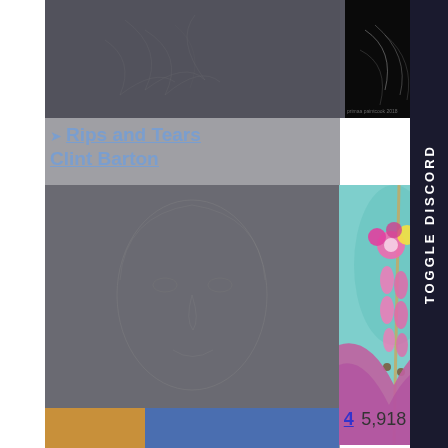[Figure (photo): Top composite image: dark gray patterned background on left, black image with sketch lines on right]
Rips and Tears
Clint Barton
[Figure (photo): Middle composite: dark gray portrait sketch on left, colorful photo of pink/purple hair with flower accessories on right]
[Figure (photo): Bottom partial image: colorful artwork partially visible]
TOGGLE DISCORD
4   5,918